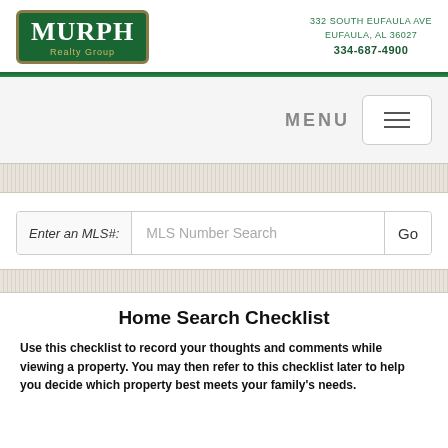[Figure (logo): Murph Realty Group logo - green rectangle with gold border, white serif text MURPH, gold italic text Realty Group below]
332 SOUTH EUFAULA AVE
EUFAULA, AL 36027
334-687-4900
MENU
Home Search Checklist
Use this checklist to record your thoughts and comments while viewing a property. You may then refer to this checklist later to help you decide which property best meets your family's needs.